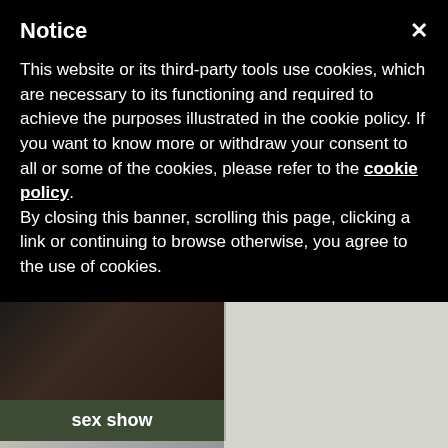Notice
This website or its third-party tools use cookies, which are necessary to its functioning and required to achieve the purposes illustrated in the cookie policy. If you want to know more or withdraw your consent to all or some of the cookies, please refer to the cookie policy.
By closing this banner, scrolling this page, clicking a link or continuing to browse otherwise, you agree to the use of cookies.
[Figure (photo): Two performer profile thumbnails with 'sex show' and 'sexshow' labels]
bellajagger
rosiefoster
[Figure (photo): Two performer thumbnails with FREE CHAT badges for bellajagger and rosiefoster]